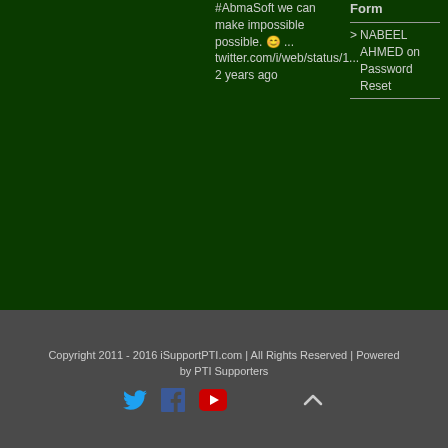#AbmaSoft we can make impossible possible. 😊 ... twitter.com/i/web/status/1... 2 years ago
Form
> NABEEL AHMED on Password Reset
Copyright 2011 - 2016 iSupportPTI.com | All Rights Reserved | Powered by PTI Supporters